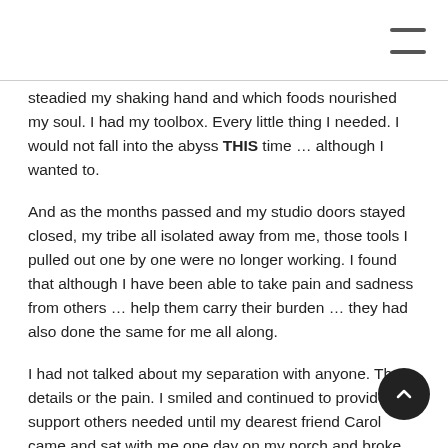steadied my shaking hand and which foods nourished my soul. I had my toolbox. Every little thing I needed. I would not fall into the abyss THIS time … although I wanted to.
And as the months passed and my studio doors stayed closed, my tribe all isolated away from me, those tools I pulled out one by one were no longer working. I found that although I have been able to take pain and sadness from others … help them carry their burden … they had also done the same for me all along.
I had not talked about my separation with anyone. The details or the pain. I smiled and continued to provide the support others needed until my dearest friend Carol came and sat with me one day on my porch and broke the dam. She allowed me to share my painful st and sat quietly as I cried and yelled and spewed the madness fr the pit of my stomach that was my life.